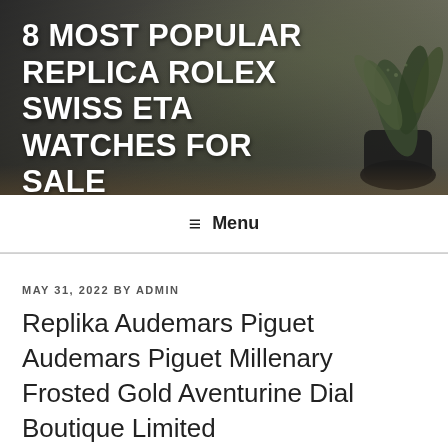[Figure (photo): Hero banner image with dark background showing a plant in a black pot on a wooden table, overlaid with bold white uppercase text title]
8 MOST POPULAR REPLICA ROLEX SWISS ETA WATCHES FOR SALE
≡ Menu
MAY 31, 2022 BY ADMIN
Replika Audemars Piguet Audemars Piguet Millenary Frosted Gold Aventurine Dial Boutique Limited 77244BC.GG.1272BC.01 Blue Dial New Watch Women's Watch Site